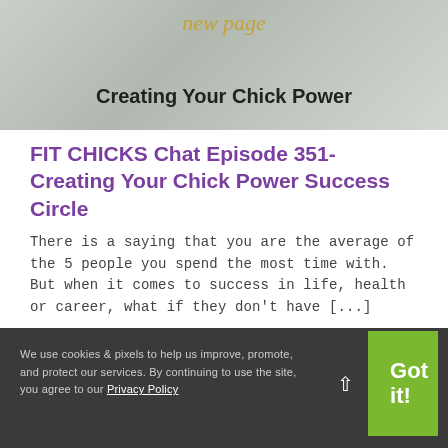[Figure (photo): Banner image with cursive script 'new page' in gold and bold text 'Creating Your Chick Power' overlaid on a light grey background with partial figures visible]
FIT CHICKS Chat Episode 351- Creating Your Chick Power Success Circle
There is a saying that you are the average of the 5 people you spend the most time with. But when it comes to success in life, health or career, what if they don't have [...]
Read More >
We use cookies & pixels to help us improve, promote, and protect our services. By continuing to use the site, you agree to our Privacy Policy   Got it!